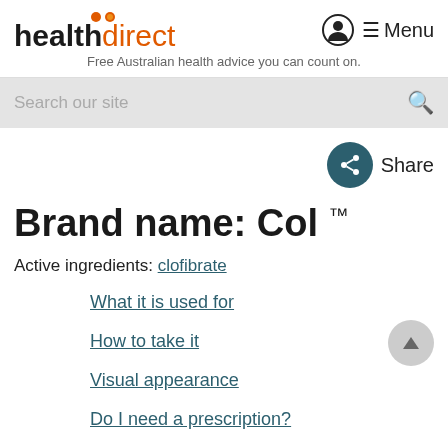healthdirect — Free Australian health advice you can count on.
Search our site
Share
Brand name: Col ™
Active ingredients: clofibrate
What it is used for
How to take it
Visual appearance
Do I need a prescription?